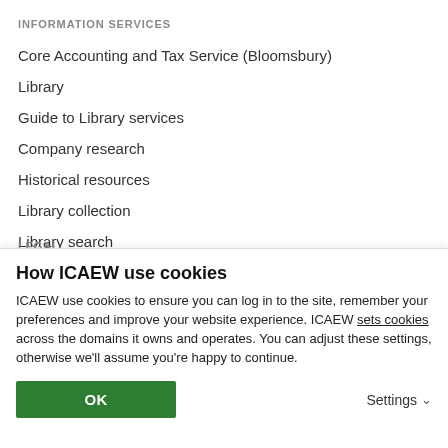INFORMATION SERVICES
Core Accounting and Tax Service (Bloomsbury)
Library
Guide to Library services
Company research
Historical resources
Library collection
Library search
LEGAL
How ICAEW use cookies
ICAEW use cookies to ensure you can log in to the site, remember your preferences and improve your website experience. ICAEW sets cookies across the domains it owns and operates. You can adjust these settings, otherwise we'll assume you're happy to continue.